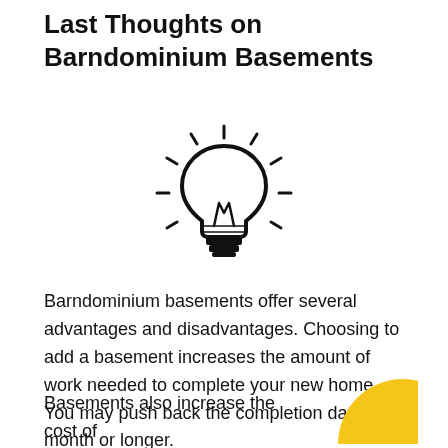Last Thoughts on Barndominium Basements
[Figure (illustration): Black and white line drawing of a lightbulb with rays emanating outward, representing an idea or insight.]
Barndominium basements offer several advantages and disadvantages. Choosing to add a basement increases the amount of work needed to complete your new home. You may push back the completion date by a month or longer.
Basements also increase the cost of